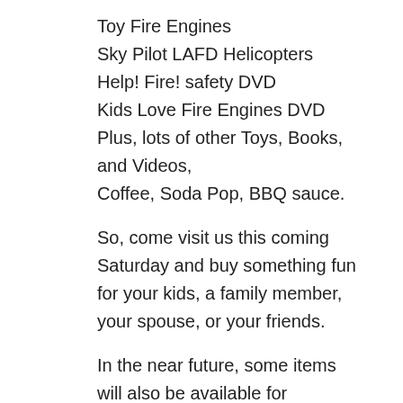Toy Fire Engines
Sky Pilot LAFD Helicopters
Help! Fire! safety DVD
Kids Love Fire Engines DVD
Plus, lots of other Toys, Books, and Videos, Coffee, Soda Pop, BBQ sauce.
So, come visit us this coming Saturday and buy something fun for your kids, a family member, your spouse, or your friends.
In the near future, some items will also be available for purchase online.
And thanks for visiting and supporting our Museums.